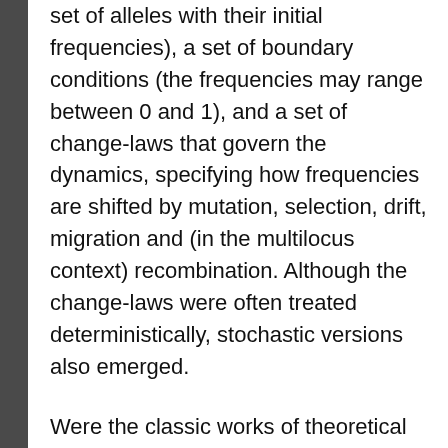set of alleles with their initial frequencies), a set of boundary conditions (the frequencies may range between 0 and 1), and a set of change-laws that govern the dynamics, specifying how frequencies are shifted by mutation, selection, drift, migration and (in the multilocus context) recombination. Although the change-laws were often treated deterministically, stochastic versions also emerged.
Were the classic works of theoretical population genetics really built on thisnarrow foundation? Why isn't this problem discussed more broadly? I'm not sure why this issue is not a primary focus of reformists, but certainly the issue has been noticed and remarked upon, and not just by non-conformists like myself or Nei (2014). Below are 3 independent sources authored by eminent evolutionary geneticists